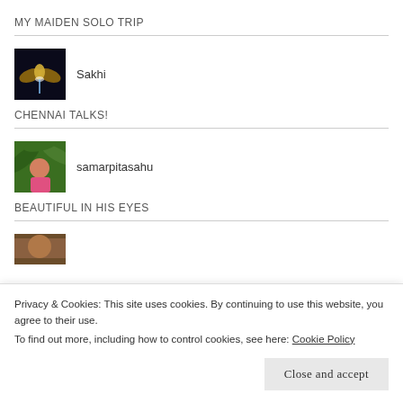MY MAIDEN SOLO TRIP
[Figure (photo): Dark background with golden glowing wings, user avatar for Sakhi]
Sakhi
CHENNAI TALKS!
[Figure (photo): Woman with tropical green plant background, user avatar for samarpitasahu]
samarpitasahu
BEAUTIFUL IN HIS EYES
[Figure (photo): Partially visible avatar with earthy/brown tones]
[Figure (photo): Partially visible avatar at bottom of page]
Privacy & Cookies: This site uses cookies. By continuing to use this website, you agree to their use.
To find out more, including how to control cookies, see here: Cookie Policy
Close and accept